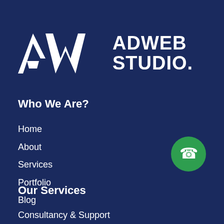[Figure (logo): ADWEB STUDIO logo with AW monogram in white on dark navy background, with a red dot after STUDIO.]
Who We Are?
Home
About
Services
Portfolio
Blog
[Figure (illustration): Green circular phone call button icon on the right side]
Our Services
Consultancy & Support